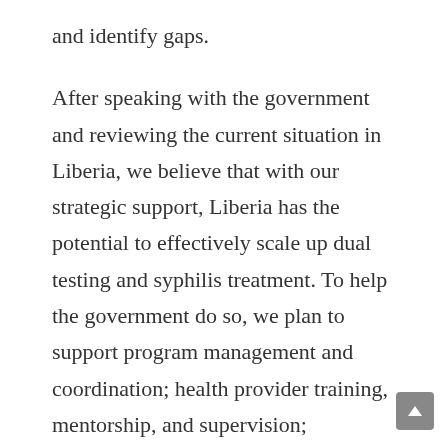and identify gaps.
After speaking with the government and reviewing the current situation in Liberia, we believe that with our strategic support, Liberia has the potential to effectively scale up dual testing and syphilis treatment. To help the government do so, we plan to support program management and coordination; health provider training, mentorship, and supervision; commodity quantification, procurement, and supply chain management; and monitoring and evaluation.
According to our estimates, a successful scale up of dual testing in Liberia, would result in 800,000 women screened, and 16,000 women successfully treated for syphilis over the course of five years. We